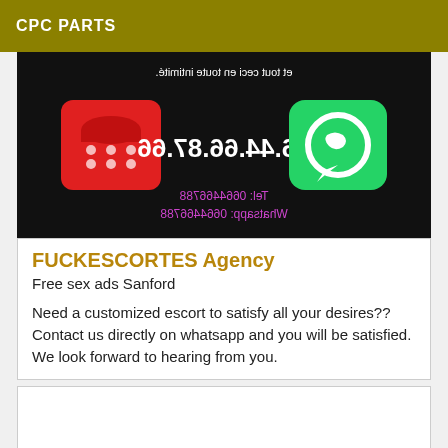CPC PARTS
[Figure (photo): Dark background image showing a red telephone icon on the left, a green WhatsApp icon on the right, a phone number '06.44.66.87.66' in the center (mirrored/flipped), text at top reading 'et tout ceci en toute intimité.' (mirrored), and at the bottom purple text showing 'Tel: 0664466788' and 'Whatsapp: 0664466788' (mirrored).]
FUCKESCORTES Agency
Free sex ads Sanford
Need a customized escort to satisfy all your desires?? Contact us directly on whatsapp and you will be satisfied. We look forward to hearing from you.